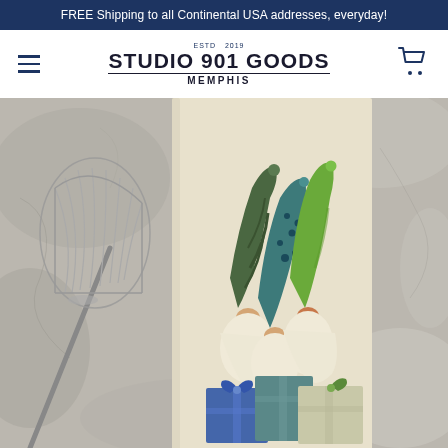FREE Shipping to all Continental USA addresses, everyday!
[Figure (logo): Studio 901 Goods Memphis logo with ESTD 2019 text, bold uppercase letters]
[Figure (photo): Product photo: a cream-colored flour sack tea towel featuring three Christmas gnomes wearing colored pointy hats (dark green striped, teal polka dot, bright green) holding wrapped gift boxes with ribbon bows, displayed on a gray stone/concrete surface background with a wire whisk visible on the left side]